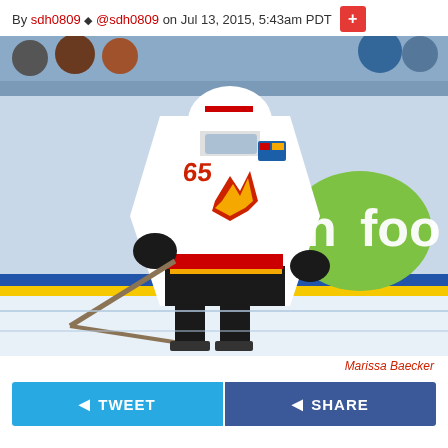By sdh0809 @ @sdh0809 on Jul 13, 2015, 5:43am PDT
[Figure (photo): Calgary Flames hockey player wearing white jersey number 65 skating on ice, crouched in playing position. Background shows arena seating with fans and a green 'nfoo' advertisement board.]
Marissa Baecker
TWEET  SHARE
Each prospect brings something different to a team. There is a